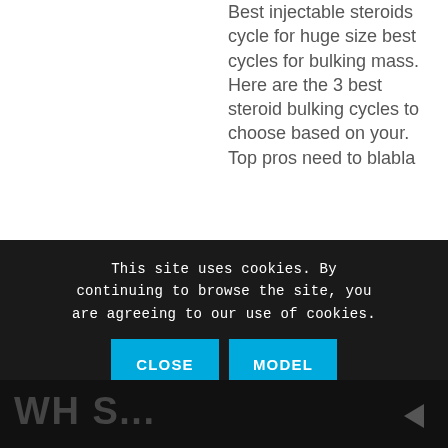Best injectable steroids cycle for huge size best cycles for bulking mass. Here are the 3 best steroid bulking cycles to choose based on your. Top pros need to blabla
This site uses cookies. By continuing to browse the site, you are agreeing to our use of cookies.
CLOSE
MODEL
LEARN MORE
WH S...